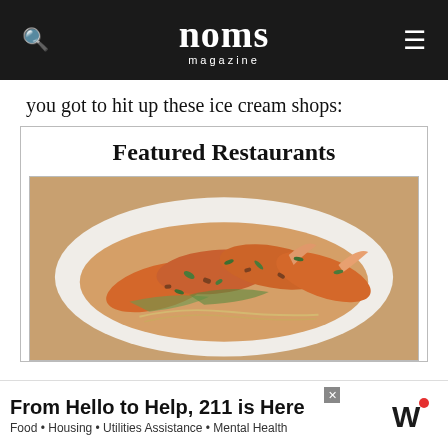noms magazine
you got to hit up these ice cream shops:
Featured Restaurants
[Figure (photo): A dish of shrimp with herbs and sauce on a white plate, photographed from above]
[Figure (infographic): Advertisement banner: 'From Hello to Help, 211 is Here' — Food • Housing • Utilities Assistance • Mental Health]